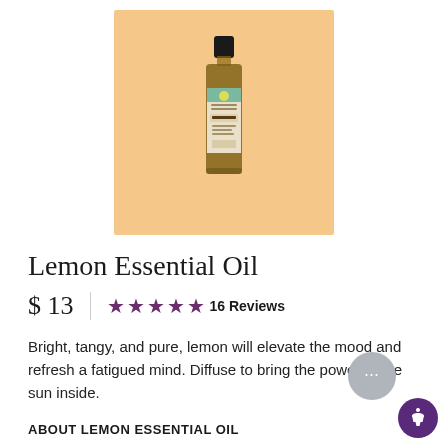[Figure (photo): A small amber glass bottle of Lemon Essential Oil with a black cap and decorative label, displayed on a warm orange/peach background.]
Lemon Essential Oil
$ 13   ★★★★★ 16 Reviews
Bright, tangy, and pure, lemon will elevate the mood and refresh a fatigued mind. Diffuse to bring the power of the sun inside.
ABOUT LEMON ESSENTIAL OIL
Read More ∨